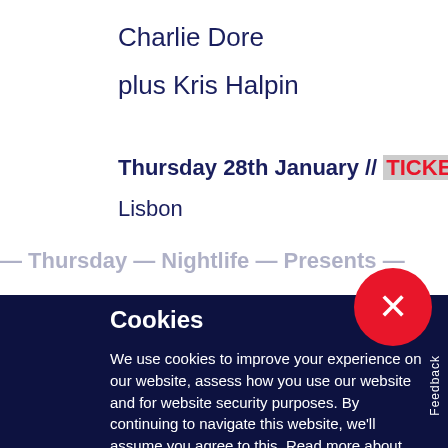Charlie Dore
plus Kris Halpin
Thursday 28th January // TICKETS ↗
Lisbon
Cookies
We use cookies to improve your experience on our website, assess how you use our website and for website security purposes. By continuing to navigate this website, we'll assume you agree to this. Read more about what cookies do and how to adjust your settings here.